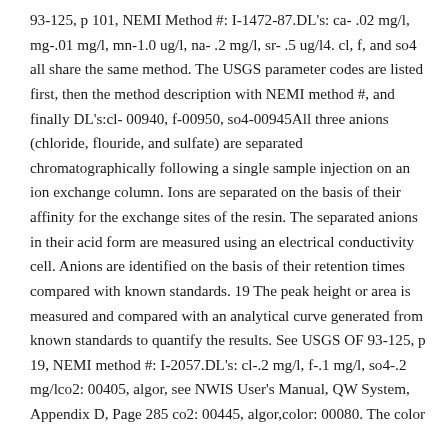93-125, p 101, NEMI Method #: I-1472-87.DL's: ca- .02 mg/l, mg-.01 mg/l, mn-1.0 ug/l, na- .2 mg/l, sr- .5 ug/l4. cl, f, and so4 all share the same method. The USGS parameter codes are listed first, then the method description with NEMI method #, and finally DL's:cl- 00940, f-00950, so4-00945All three anions (chloride, flouride, and sulfate) are separated chromatographically following a single sample injection on an ion exchange column. Ions are separated on the basis of their affinity for the exchange sites of the resin. The separated anions in their acid form are measured using an electrical conductivity cell. Anions are identified on the basis of their retention times compared with known standards. 19 The peak height or area is measured and compared with an analytical curve generated from known standards to quantify the results. See USGS OF 93-125, p 19, NEMI method #: I-2057.DL's: cl-.2 mg/l, f-.1 mg/l, so4-.2 mg/lco2: 00405, algor, see NWIS User's Manual, QW System, Appendix D, Page 285 co2: 00445, algor,color: 00080. The color